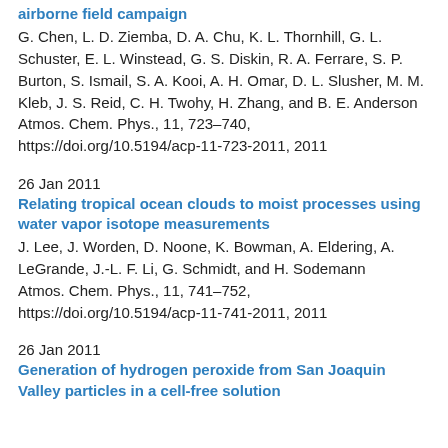airborne field campaign
G. Chen, L. D. Ziemba, D. A. Chu, K. L. Thornhill, G. L. Schuster, E. L. Winstead, G. S. Diskin, R. A. Ferrare, S. P. Burton, S. Ismail, S. A. Kooi, A. H. Omar, D. L. Slusher, M. M. Kleb, J. S. Reid, C. H. Twohy, H. Zhang, and B. E. Anderson
Atmos. Chem. Phys., 11, 723–740, https://doi.org/10.5194/acp-11-723-2011, 2011
26 Jan 2011
Relating tropical ocean clouds to moist processes using water vapor isotope measurements
J. Lee, J. Worden, D. Noone, K. Bowman, A. Eldering, A. LeGrande, J.-L. F. Li, G. Schmidt, and H. Sodemann
Atmos. Chem. Phys., 11, 741–752, https://doi.org/10.5194/acp-11-741-2011, 2011
26 Jan 2011
Generation of hydrogen peroxide from San Joaquin Valley particles in a cell-free solution